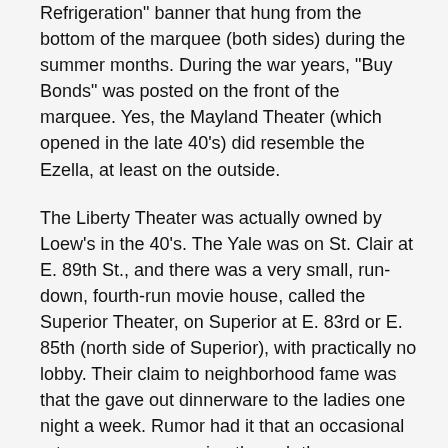Refrigeration" banner that hung from the bottom of the marquee (both sides) during the summer months. During the war years, "Buy Bonds" was posted on the front of the marquee. Yes, the Mayland Theater (which opened in the late 40's) did resemble the Ezella, at least on the outside.
The Liberty Theater was actually owned by Loew's in the 40's. The Yale was on St. Clair at E. 89th St., and there was a very small, run-down, fourth-run movie house, called the Superior Theater, on Superior at E. 83rd or E. 85th (north side of Superior), with practically no lobby. Their claim to neighborhood fame was that the gave out dinnerware to the ladies one night a week. Rumor had it that an occasional rate was seen scurrying through the auditorium, though I could never confirm that.
I lived in a rat-infested apartment building at the corner of Wade Park Ave. and Giddings Road from 1941 (when I was 4) to 1948 (when I was 11). Since the Ezella changed programs three times a week — on Sunday, Tuesday, and Thursday in the later 40's — I was often there three times a week, usually with my mother. Admission was 20 cents for her, a dime for me. When we moved out to